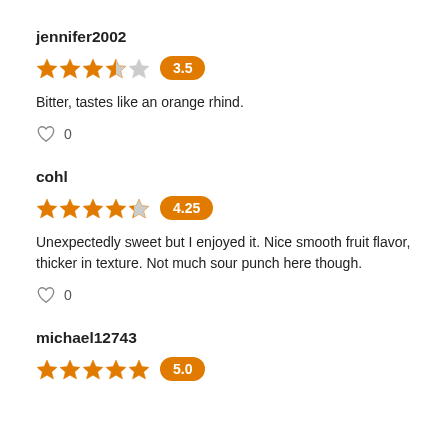jennifer2002
[Figure (other): 3.5 star rating with orange badge showing 3.5]
Bitter, tastes like an orange rhind.
♡ 0
cohl
[Figure (other): 4.25 star rating with orange badge showing 4.25]
Unexpectedly sweet but I enjoyed it. Nice smooth fruit flavor, thicker in texture. Not much sour punch here though.
♡ 0
michael12743
[Figure (other): 5.0 star rating with orange badge showing 5.0 (partially visible)]